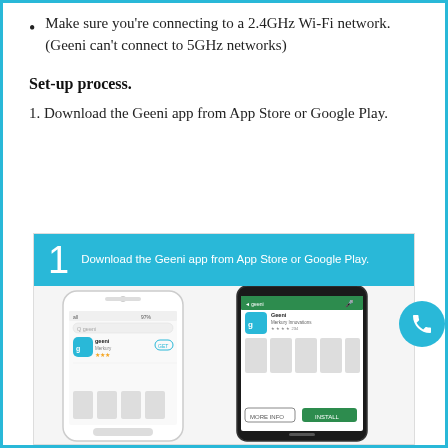Make sure you're connecting to a 2.4GHz Wi-Fi network. (Geeni can't connect to 5GHz networks)
Set-up process.
1. Download the Geeni app from App Store or Google Play.
[Figure (screenshot): Step 1 card with blue header showing large number '1' and text 'Download the Geeni app from App Store or Google Play.' Below shows two phone screenshots of the Geeni app in the App Store and Google Play Store.]